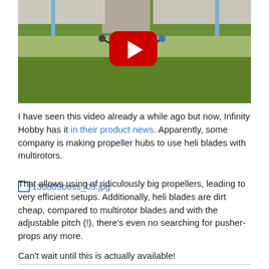[Figure (screenshot): Video thumbnail showing a drone flying over green grass under a bridge/overpass, with a red YouTube play button overlay in the center.]
I have seen this video already a while ago but now, Infinity Hobby has it in their product news. Apparently, some company is making propeller hubs to use heli blades with multirotors.
130809boss_03.jpg
That allows using of ridiculously big propellers, leading to very efficient setups. Additionally, heli blades are dirt cheap, compared to multirotor blades and with the adjustable pitch (!), there's even no searching for pusher-props any more.
Can't wait until this is actually available!